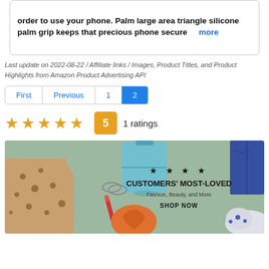order to use your phone. Palm large area triangle silicone palm grip keeps that precious phone secure  more
Last update on 2022-08-22 / Affiliate links / Images, Product Titles, and Product Highlights from Amazon Product Advertising API
First | Previous | 1 | 2 (pagination)
★★★★★  5  1 ratings
[Figure (photo): Amazon advertisement banner showing fashion and beauty products (leopard print dress, teal suitcase, lipstick, orange container, denim jeans, white sneaker) with text: stars CUSTOMERS' MOST-LOVED Fashion, Beauty, and More SHOP NOW]